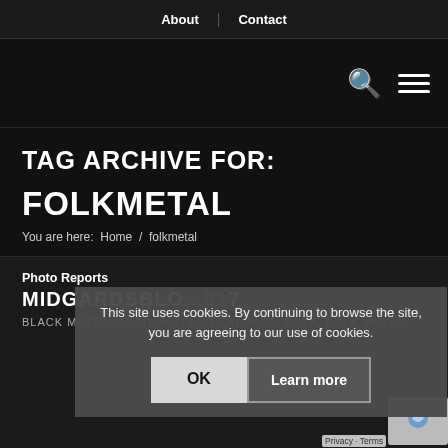About | Contact
TAG ARCHIVE FOR:
FOLKMETAL
You are here: Home / folkmetal
Photo Reports
MIDGARDSBLO...017
BLACK METAL, DEATH METAL, FEATURED, FOLK, FOLK METAL
This site uses cookies. By continuing to browse the site, you are agreeing to our use of cookies.